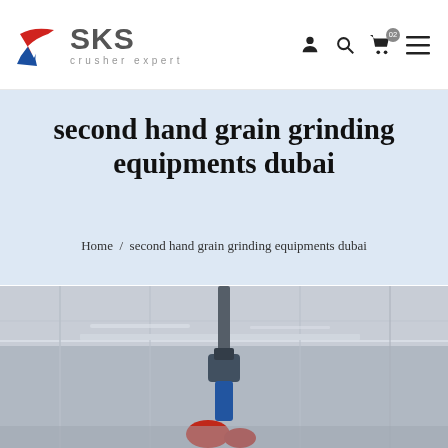[Figure (logo): SKS crusher expert logo with red and blue swoosh graphic]
second hand grain grinding equipments dubai
Home / second hand grain grinding equipments dubai
[Figure (photo): Industrial photo showing overhead view of factory/warehouse interior with mechanical equipment hanging from ceiling; blue and red components visible]